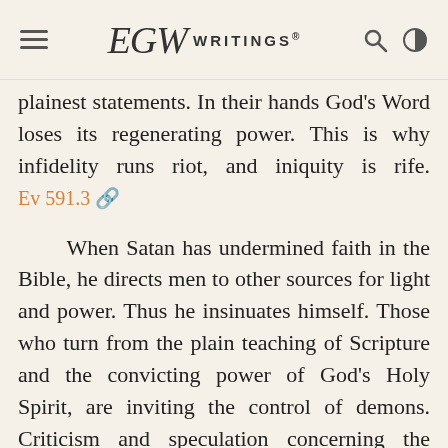EGW Writings
plainest statements. In their hands God's Word loses its regenerating power. This is why infidelity runs riot, and iniquity is rife. Ev 591.3
When Satan has undermined faith in the Bible, he directs men to other sources for light and power. Thus he insinuates himself. Those who turn from the plain teaching of Scripture and the convicting power of God's Holy Spirit, are inviting the control of demons. Criticism and speculation concerning the Scriptures have opened the way for Spiritualism and Theosophy—those modernized forms of ancient heathenism—to gain a foothold even in the professed churches of our Lord Jesus Christ. Ev 591.4
Side by side with the preaching of the...